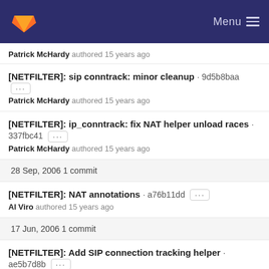GitLab — Menu
Patrick McHardy authored 15 years ago
[NETFILTER]: sip conntrack: minor cleanup · 9d5b8baa ···
Patrick McHardy authored 15 years ago
[NETFILTER]: ip_conntrack: fix NAT helper unload races · 337fbc41 ···
Patrick McHardy authored 15 years ago
28 Sep, 2006 1 commit
[NETFILTER]: NAT annotations · a76b11dd ···
Al Viro authored 15 years ago
17 Jun, 2006 1 commit
[NETFILTER]: Add SIP connection tracking helper · ae5b7d8b ···
Patrick McHardy authored 16 years ago